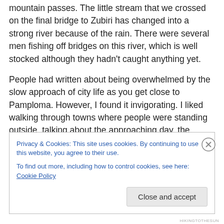mountain passes. The little stream that we crossed on the final bridge to Zubiri has changed into a strong river because of the rain. There were several men fishing off bridges on this river, which is well stocked although they hadn't caught anything yet.
People had written about being overwhelmed by the slow approach of city life as you get close to Pamploma. However, I found it invigorating. I liked walking through towns where people were standing outside, talking about the approaching day, the weather, sports. I liked seeing
Privacy & Cookies: This site uses cookies. By continuing to use this website, you agree to their use.
To find out more, including how to control cookies, see here: Cookie Policy
Close and accept
HIKINGTOTHESUN